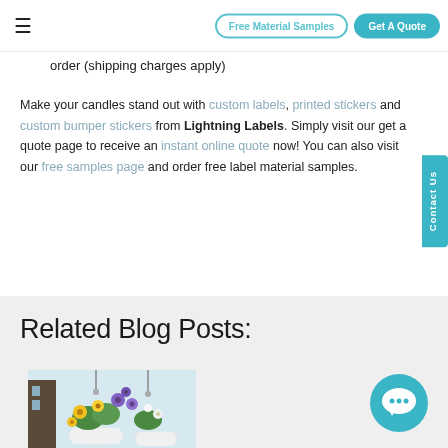≡   Free Material Samples   Get A Quote
order (shipping charges apply)
Make your candles stand out with custom labels, printed stickers and custom bumper stickers from Lightning Labels. Simply visit our get a quote page to receive an instant online quote now! You can also visit our free samples page and order free label material samples.
Related Blog Posts:
[Figure (photo): Hanging baskets with colorful flowers including yellow, purple, and white blooms in white pots]